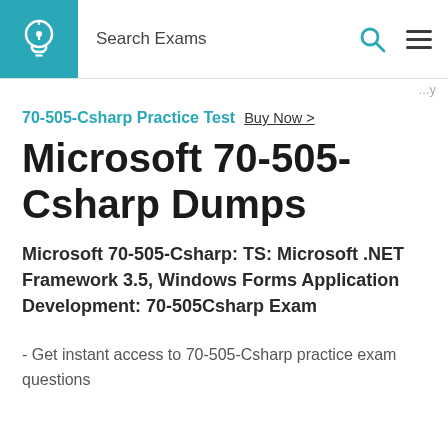Search Exams
70-505-Csharp Practice Test  Buy Now >
Microsoft 70-505-Csharp Dumps
Microsoft 70-505-Csharp: TS: Microsoft .NET Framework 3.5, Windows Forms Application Development: 70-505Csharp Exam
- Get instant access to 70-505-Csharp practice exam questions